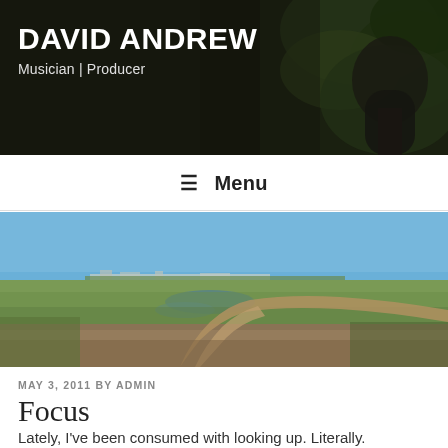DAVID ANDREW
Musician | Producer
[Figure (photo): Header photo of a bearded man against dark green foliage background]
≡ Menu
[Figure (photo): Panoramic landscape photo of a flat prairie with a winding dirt road, green grass, water pools, and a blue sky with buildings on the horizon]
MAY 3, 2011 BY ADMIN
Focus
Lately, I've been consumed with looking up. Literally. Here's a picture for you.